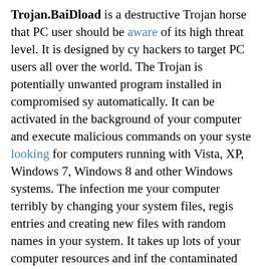Trojan.BaiDload is a destructive Trojan horse that PC users should be aware of its high threat level. It is designed by cy hackers to target PC users all over the world. The Trojan is potentially unwanted program installed in compromised sy automatically. It can be activated in the background of your computer and execute malicious commands on your syste looking for computers running with Vista, XP, Windows 7, Windows 8 and other Windows systems. The infection me your computer terribly by changing your system files, regi entries and creating new files with random names in your system. It takes up lots of your computer resources and inf the contaminated system with vicious codes like adware parasites, worms, malware and spyware. With the Trojan a you will find that the computer becomes abnormal and it g stuck and frozen up easily while you load websites, launch programs, play games and watch videos and so on. Such a horse can affect your Firewall and executable programs of computer badly. That is, you should not rely on your anti